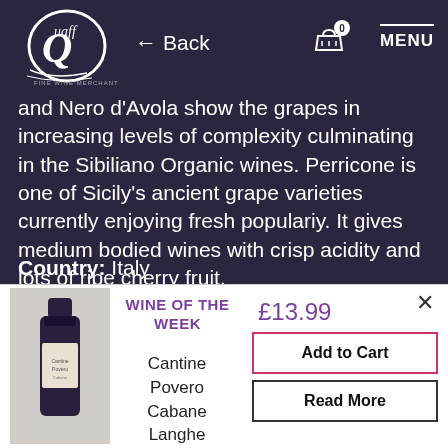[Figure (logo): Quaff Fine Wine Merchant logo — stylized Q with cursive lettering]
← Back   0   MENU
and Nero d'Avola show the grapes in increasing levels of complexity culminating in the Sibiliano Organic wines. Perricone is one of Sicily's ancient grape varieties currently enjoying fresh populariy. It gives medium bodied wines with crisp acidity and lots of ripe cherry fruit.
Country: Italy
[Figure (photo): Wine bottle — Cantine Povero Cabane Langhe]
WINE OF THE WEEK
£13.99
Add to Cart
Read More
Cantine Povero Cabane Langhe